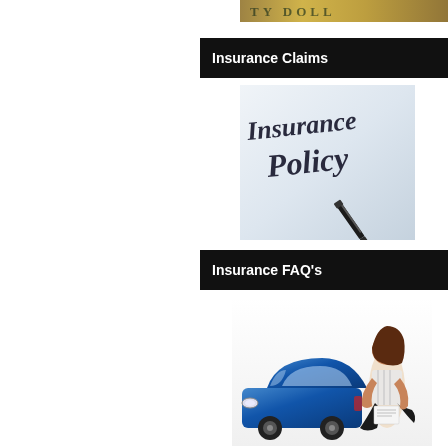[Figure (photo): Partial view of dollar bill / money background image at top right]
Insurance Claims
[Figure (photo): Insurance Policy document with pen resting on it]
Insurance FAQ's
[Figure (photo): Woman sitting next to blue car holding documents]